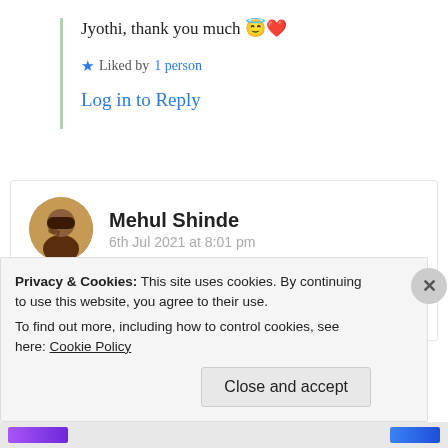Jyothi, thank you much 😇❤️
★ Liked by 1 person
Log in to Reply
Mehul Shinde
6th Jul 2021 at 8:01 pm
Enjoyed the poem. Straight from the heart
★ Liked by 2 people
Privacy & Cookies: This site uses cookies. By continuing to use this website, you agree to their use.
To find out more, including how to control cookies, see here: Cookie Policy
Close and accept